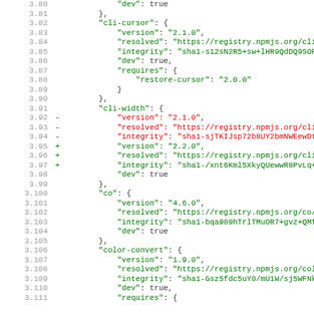Code diff showing JSON lock file content for npm packages: cli-cursor, cli-width, co, color-convert. Lines 3.80-3.111. Shows version bump for cli-width from 2.1.0 to 2.2.0 (red removed lines, green added lines).